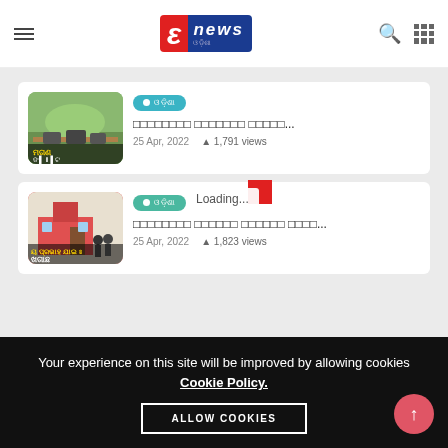E news Odisha - navigation header with logo, hamburger menu, search and grid icons
[Figure (screenshot): News thumbnail 1 - rural scene with cattle and people, Odia text overlay]
ଓଡ଼ିଶା (category tag)
□□□□□□□□ □□□□□□□ □□□□□...
25 Apr, 2022   1,791 views
[Figure (screenshot): News thumbnail 2 - school children in front of school building, Odia text overlay]
ଓଡ଼ିଶା (category tag 2)
□□□□□□□□ Loading... □□□□□□□ □□□□□□ □□□□...
25 Apr, 2022   1,823 views
Your experience on this site will be improved by allowing cookies Cookie Policy. ALLOW COOKIES